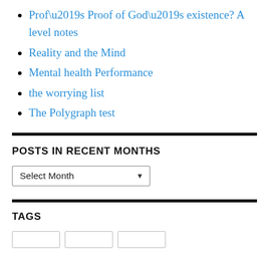Prof’s Proof of God’s existence? A level notes
Reality and the Mind
Mental health Performance
the worrying list
The Polygraph test
POSTS IN RECENT MONTHS
Select Month
TAGS